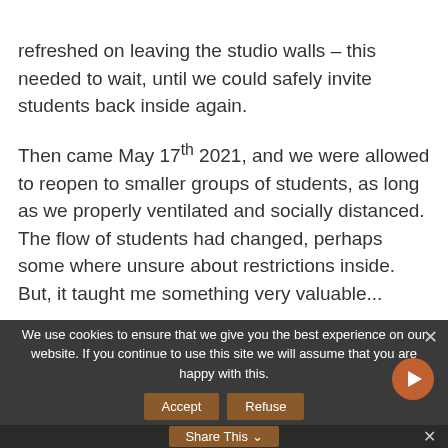refreshed on leaving the studio walls – this needed to wait, until we could safely invite students back inside again.

Then came May 17th 2021, and we were allowed to reopen to smaller groups of students, as long as we properly ventilated and socially distanced. The flow of students had changed, perhaps some where unsure about restrictions inside. But, it taught me something very valuable...
We use cookies to ensure that we give you the best experience on our website. If you continue to use this site we will assume that you are happy with this.